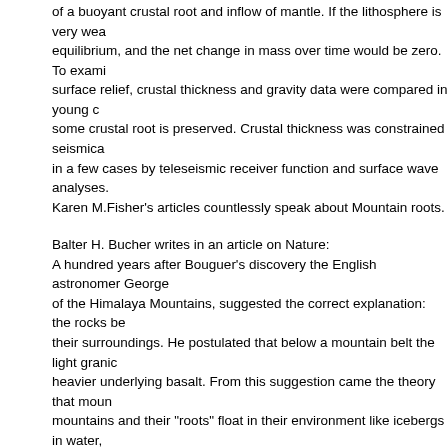of a buoyant crustal root and inflow of mantle. If the lithosphere is very weak, it is in equilibrium, and the net change in mass over time would be zero. To examine the issue, surface relief, crustal thickness and gravity data were compared in young orogens where some crustal root is preserved. Crustal thickness was constrained seismically and in a few cases by teleseismic receiver function and surface wave analyses. Karen M.Fisher's articles countlessly speak about Mountain roots.
Balter H. Bucher writes in an article on Nature:
A hundred years after Bouguer's discovery the English astronomer George of the Himalaya Mountains, suggested the correct explanation: the rocks be their surroundings. He postulated that below a mountain belt the light granic heavier underlying basalt. From this suggestion came the theory that mountains and their "roots" float in their environment like icebergs in water, heavier ones.
... What is more remarkable is that the discrepancy grows larger as the elevation maximum at the crest. This indeed suggests the existence of a mountain "r deep levels of the crust beneath the Eastern Alps earthquake waves travel deep levels in other regions, indicating that the light, low-velocity rocks here denser rocks. In other words, the Alps do have a granitic root.
... the process of lateral compression of the crust which forms mountains fo form a solid root and upward to invade the thick sediments of the mountain ...Compression of these belts drew out the sediment filled furrows into roots chemical processes that transformed part of the sediments into metamorph David James writes in an article found on Nature:
Active mountain belts have crustal 'roots' that gravitationally balance the hig Peter Molner writes in "The Structure of Mountain ranges" an article found o Airy assumed that the crust is of uniform density but that it is thicker under m supported by deep roots of buoyant material. [28]